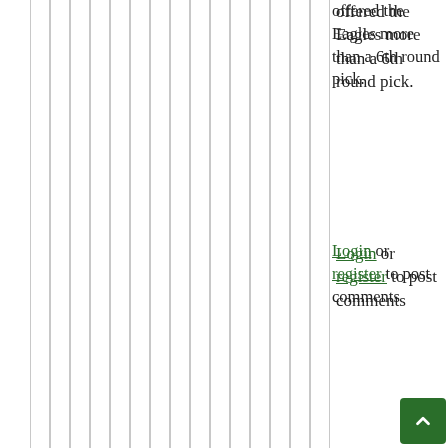offered the Eagles more than a 6th round pick.
Login or register to post comments
69  if if if if
by Bob Smith // Nov 19, 2021 - 8:12pm
Yes but if... he